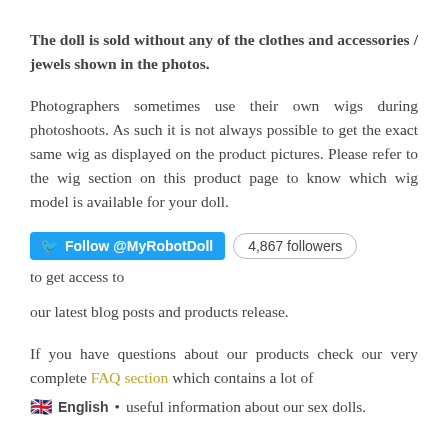The doll is sold without any of the clothes and accessories / jewels shown in the photos.
Photographers sometimes use their own wigs during photoshoots. As such it is not always possible to get the exact same wig as displayed on the product pictures. Please refer to the wig section on this product page to know which wig model is available for your doll.
Follow @MyRobotDoll 4,867 followers to get access to our latest blog posts and products release.
If you have questions about our products check our very complete FAQ section which contains a lot of useful information about our sex dolls.